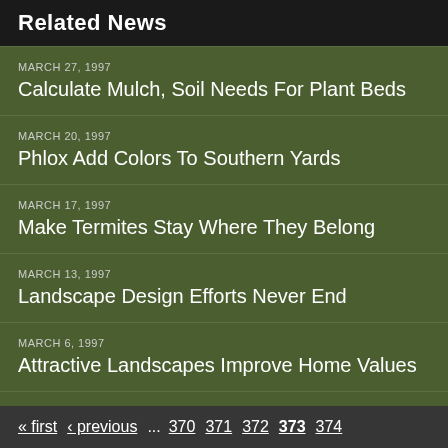Related News
MARCH 27, 1997
Calculate Mulch, Soil Needs For Plant Beds
MARCH 20, 1997
Phlox Add Colors To Southern Yards
MARCH 17, 1997
Make Termites Stay Where They Belong
MARCH 13, 1997
Landscape Design Efforts Never End
MARCH 6, 1997
Attractive Landscapes Improve Home Values
« first  ‹ previous  ...  370  371  372  373  374